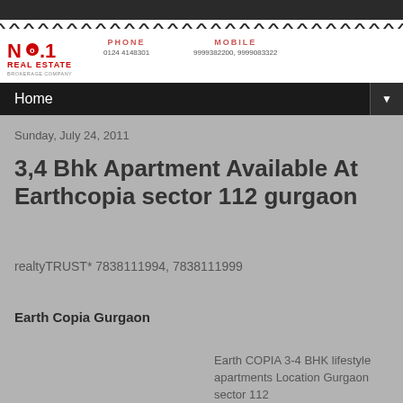No.1 Real Estate Brokerage Company | PHONE 0124 4148301 | MOBILE 9999382200, 9999083322
Home
Sunday, July 24, 2011
3,4 Bhk Apartment Available At Earthcopia sector 112 gurgaon
realtyTRUST* 7838111994, 7838111999
Earth Copia Gurgaon
Earth COPIA 3-4 BHK lifestyle apartments Location Gurgaon sector 112